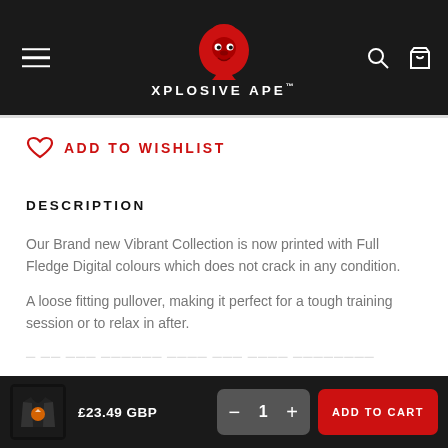XPLOSIVE APE™
ADD TO WISHLIST
DESCRIPTION
Our Brand new Vibrant Collection is now printed with Full Fledge Digital colours which does not crack in any condition.
A loose fitting pullover, making it perfect for a tough training session or to relax in after.
£23.49 GBP
ADD TO CART